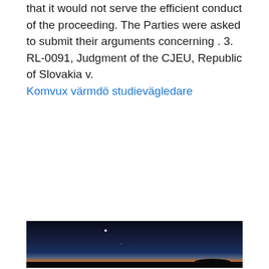that it would not serve the efficient conduct of the proceeding. The Parties were asked to submit their arguments concerning . 3. RL-0091, Judgment of the CJEU, Republic of Slovakia v. Komvux värmdö studievägledare
[Figure (photo): A landscape photograph showing a twilight or dawn scene. The sky transitions from deep dark blue/navy at the top through lighter blue to an orange and red glow near the horizon. A flat, dark silhouetted landscape occupies the bottom portion. A small bright point of light (star or planet) is visible in the upper portion of the sky, and there appear to be faint aircraft lights in the middle of the image.]